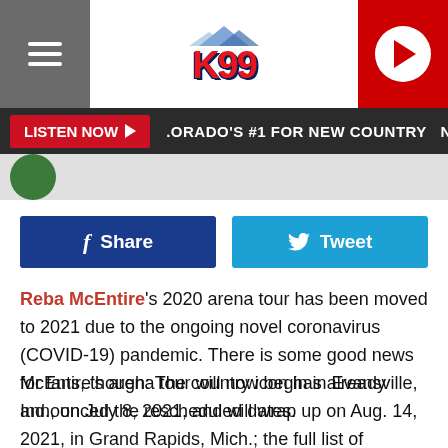[Figure (logo): K99 radio station logo with mountain graphic and red text on white background, flanked by hamburger menu icon on left and red play button on right]
LISTEN NOW ▶  .ORADO'S #1 FOR NEW COUNTRY  NORTHERN COI
[Figure (screenshot): Social share buttons: Facebook Share button (dark blue) and Twitter Tweet button (light blue)]
Reba McEntire's 2020 arena tour has been moved to 2021 due to the ongoing novel coronavirus (COVID-19) pandemic. There is some good news for fans, though: The country icon has already announced the rescheduled dates.
McEntire's arena tour will now begin in Evansville, Ind., on July 8, 2021, and will wrap up on Aug. 14, 2021, in Grand Rapids, Mich.; the full list of rescheduled dates is below. Previously purchased tickets will be valid for the new show dates, but fans who cannot attend should be on the lookout